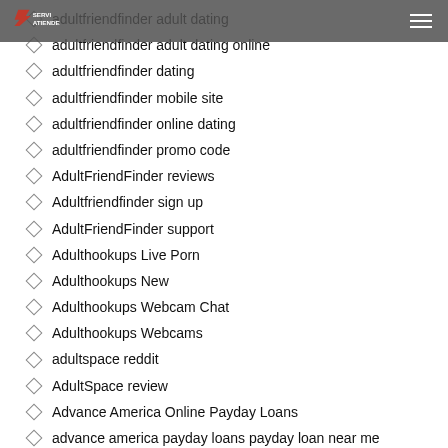SERVI ATIENDE
adultfriendfinder adult dating
adultfriendfinder adult dating online
adultfriendfinder dating
adultfriendfinder mobile site
adultfriendfinder online dating
adultfriendfinder promo code
AdultFriendFinder reviews
Adultfriendfinder sign up
AdultFriendFinder support
Adulthookups Live Porn
Adulthookups New
Adulthookups Webcam Chat
Adulthookups Webcams
adultspace reddit
AdultSpace review
Advance America Online Payday Loans
advance america payday loans payday loan near me
Advance Bad Credit Online Kentucky